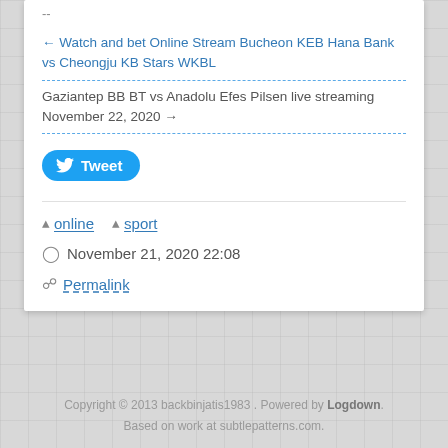--
← Watch and bet Online Stream Bucheon KEB Hana Bank vs Cheongju KB Stars WKBL
Gaziantep BB BT vs Anadolu Efes Pilsen live streaming November 22, 2020 →
[Figure (other): Twitter Tweet button (blue rounded button with bird icon and 'Tweet' label)]
online   sport
November 21, 2020 22:08
Permalink
Copyright © 2013 backbinjatis1983 . Powered by Logdown. Based on work at subtlepatterns.com.